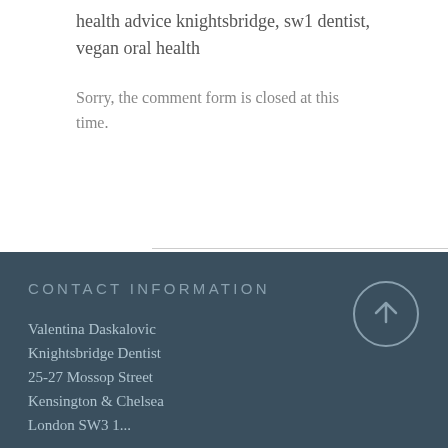health advice knightsbridge, sw1 dentist, vegan oral health
Sorry, the comment form is closed at this time.
CONTACT INFORMATION
Valentina Daskalovic
Knightsbridge Dentist
25-27 Mossop Street
Kensington & Chelsea
London SW3 1...